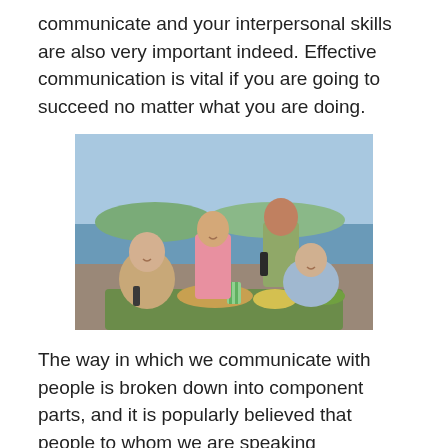communicate and your interpersonal skills are also very important indeed. Effective communication is vital if you are going to succeed no matter what you are doing.
[Figure (photo): Four young adults socializing outdoors on a rooftop or deck with food and drinks, with a waterfront and city skyline in the background.]
The way in which we communicate with people is broken down into component parts, and it is popularly believed that people to whom we are speaking understand what we say by interpreting these different elements in varying...